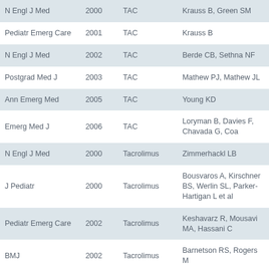| Journal | Year | Drug | Author(s) |
| --- | --- | --- | --- |
| N Engl J Med | 2000 | TAC | Krauss B, Green SM |
| Pediatr Emerg Care | 2001 | TAC | Krauss B |
| N Engl J Med | 2002 | TAC | Berde CB, Sethna NF |
| Postgrad Med J | 2003 | TAC | Mathew PJ, Mathew JL |
| Ann Emerg Med | 2005 | TAC | Young KD |
| Emerg Med J | 2006 | TAC | Loryman B, Davies F, Chavada G, Coa... |
| N Engl J Med | 2000 | Tacrolimus | Zimmerhackl LB |
| J Pediatr | 2000 | Tacrolimus | Bousvaros A, Kirschner BS, Werlin SL, Parker-Hartigan L et al |
| Pediatr Emerg Care | 2002 | Tacrolimus | Keshavarz R, Mousavi MA, Hassani C |
| BMJ | 2002 | Tacrolimus | Barnetson RS, Rogers M |